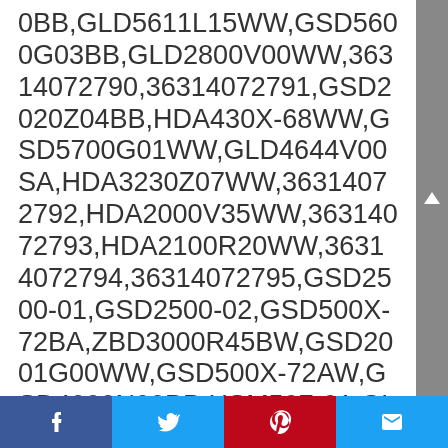0BB,GLD5611L15WW,GSD5600G03BB,GLD2800V00WW,36314072790,36314072791,GSD2020Z04BB,HDA430X-68WW,GSD5700G01WW,GLD4644V00SA,HDA3230Z07WW,36314072792,HDA2000V35WW,36314072793,HDA2100R20WW,36314072794,36314072795,GSD2500-01,GSD2500-02,GSD500X-72BA,ZBD3000R45BW,GSD2001G00WW,GSD500X-72AW,GSD4000N00BB,HSM507-01,GLD6200L00CC,GSD3830Z01WW,GSD3310C02AA,GSC720Y03WH,